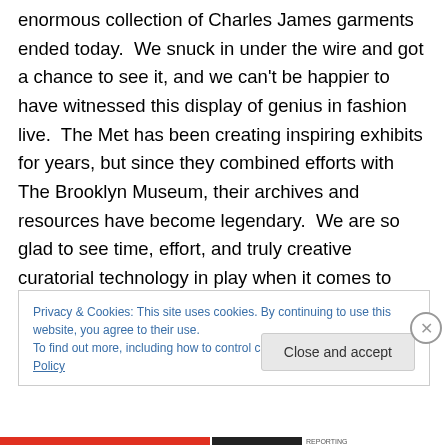enormous collection of Charles James garments ended today.  We snuck in under the wire and got a chance to see it, and we can't be happier to have witnessed this display of genius in fashion live.  The Met has been creating inspiring exhibits for years, but since they combined efforts with The Brooklyn Museum, their archives and resources have become legendary.  We are so glad to see time, effort, and truly creative curatorial technology in play when it comes to showcasing fashion history.  The Met really is the best place to see exhibits of this type in The United States, and the only thing we've
Privacy & Cookies: This site uses cookies. By continuing to use this website, you agree to their use.
To find out more, including how to control cookies, see here: Cookie Policy